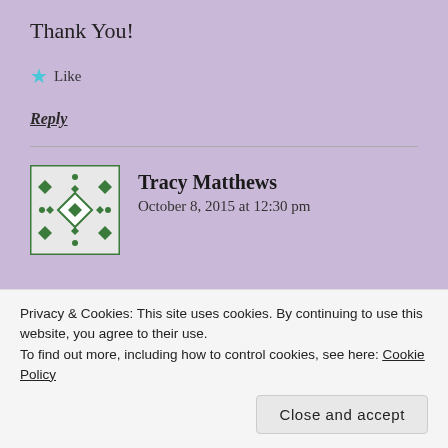Thank You!
★ Like
Reply
Tracy Matthews
October 8, 2015 at 12:30 pm
Privacy & Cookies: This site uses cookies. By continuing to use this website, you agree to their use.
To find out more, including how to control cookies, see here: Cookie Policy
Close and accept
amazes me...stay strong.